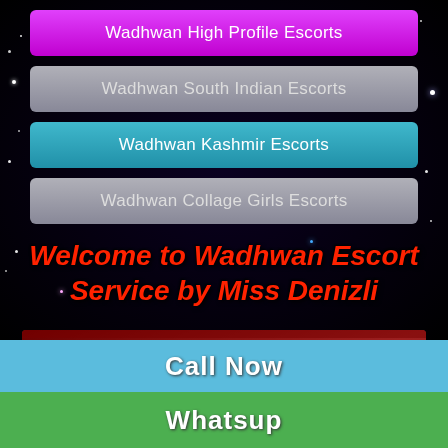Wadhwan High Profile Escorts
Wadhwan South Indian Escorts
Wadhwan Kashmir Escorts
Wadhwan Collage Girls Escorts
Welcome to Wadhwan Escort Service by Miss Denizli
[Figure (photo): Promotional banner showing a woman in red dress lying down, with text: We Offer Genuine and High Profile Girls, Top Class Models, VIP Available Now]
Call Now
Whatsup